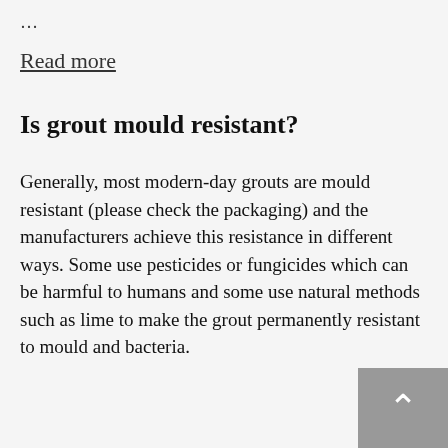…
Read more
Is grout mould resistant?
Generally, most modern-day grouts are mould resistant (please check the packaging) and the manufacturers achieve this resistance in different ways. Some use pesticides or fungicides which can be harmful to humans and some use natural methods such as lime to make the grout permanently resistant to mould and bacteria.
Is grout flexible?
Please read about antibacterial grout for more information here.
Most modern-day grouts are flexible and many manufacturers also produce a flexible liquid additive to further enhance the flexibility and abrasion resistance